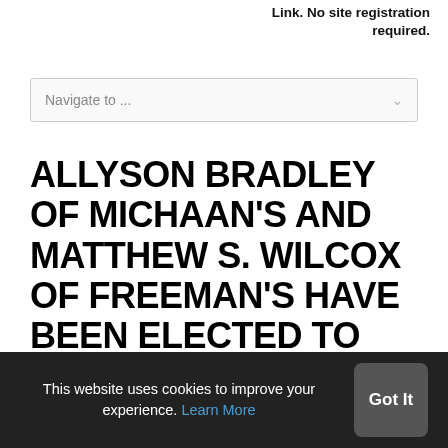Link. No site registration required.
[Figure (screenshot): Navigation dropdown selector with text 'Navigate to ...' and a down arrow icon]
ALLYSON BRADLEY OF MICHAAN'S AND MATTHEW S. WILCOX OF FREEMAN'S HAVE BEEN ELECTED TO THE BOARD OF DIRECTORS OF THE FOUNDATION FOR
This website uses cookies to improve your experience. Learn More
Got It